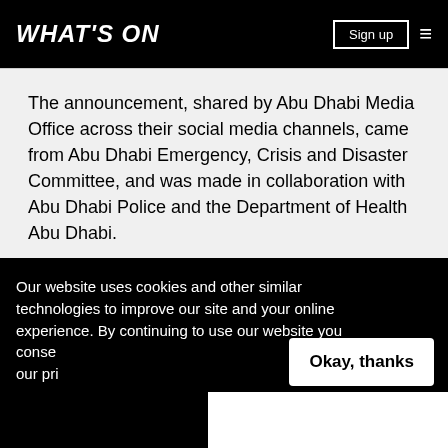WHAT'S ON | Sign up
The announcement, shared by Abu Dhabi Media Office across their social media channels, came from Abu Dhabi Emergency, Crisis and Disaster Committee, and was made in collaboration with Abu Dhabi Police and the Department of Health Abu Dhabi.
Images: Getty
Our website uses cookies and other similar technologies to improve our site and your online experience. By continuing to use our website you consent our pr